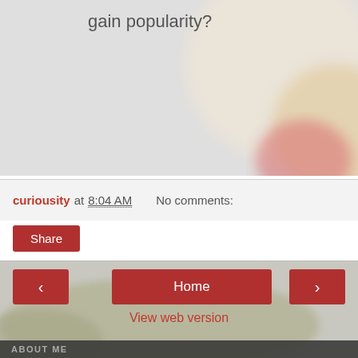[Figure (photo): Blurred background photo with light grey and warm orange/red hues, partially visible object]
gain popularity?
curiousity at 8:04 AM   No comments:
Share
[Figure (screenshot): Navigation buttons: left arrow, Home, right arrow, and View web version link]
View web version
ABOUT ME
[Figure (photo): Profile photo thumbnail of a person]
curiousity
I am a trained teacher, but my interests span the etheral realm.
View my complete profile
Powered by Blogger.